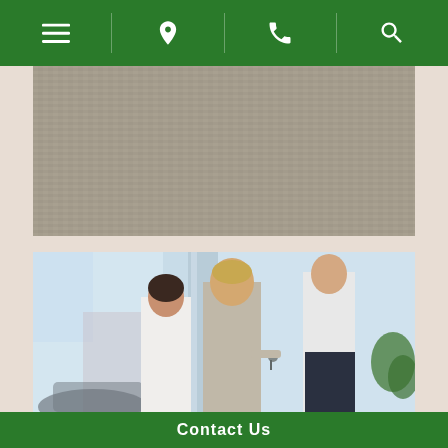[Figure (screenshot): Green navigation bar with four icons: hamburger menu, location pin, phone, and search magnifying glass]
[Figure (photo): Concrete or stone surface texture — partial view of an image behind a car dealership page]
[Figure (photo): Car dealership scene: a smiling couple (woman with dark hair, man in grey sweater) receiving car keys from a salesperson in a white shirt, inside a showroom with a pillar and car visible in background]
Contact Us